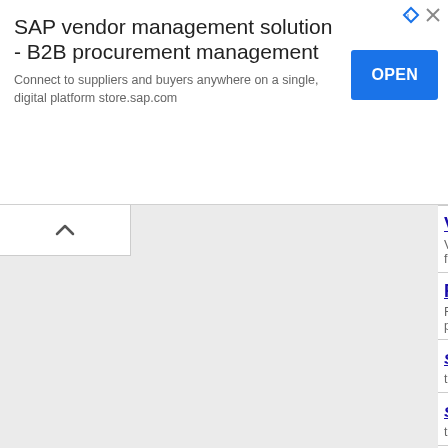[Figure (screenshot): Advertisement banner for SAP vendor management solution - B2B procurement management with an OPEN button]
VOICE 4 Girls
VOICE 4 Girls is an NGO working in Hyderabad futures by imparting critical knowledge, spoken E
Friends of Snakes Society
Friends of Snakes Society is an NGO working i protection snakes.2. Education and awareness g
sri gurudeva charitable trust
to support physically mentally challnged...
spoorthy empowerment and livel
to empower destitute women and protect tribals t
MERCY OLDAGE HOME
MERCY OLDAGE HOME is an NGO working in
Gracefull Slum Development Se